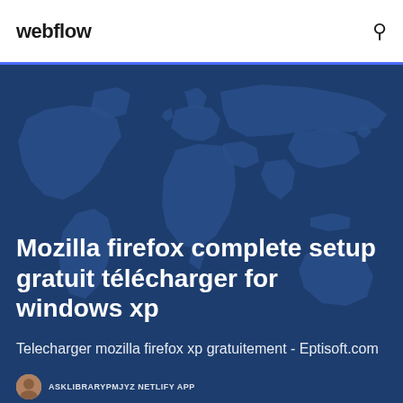webflow
[Figure (illustration): World map illustration with dark blue background showing continent outlines in a slightly lighter blue tone]
Mozilla firefox complete setup gratuit télécharger for windows xp
Telecharger mozilla firefox xp gratuitement - Eptisoft.com
ASKLIBRARYPMJYZ NETLIFY APP